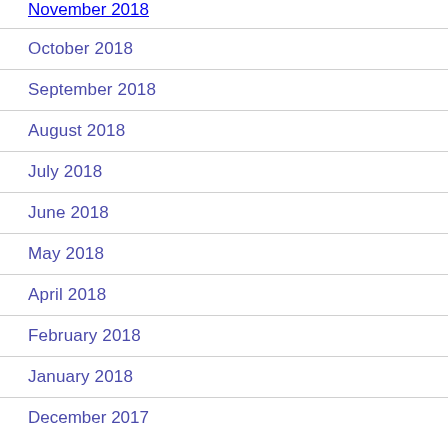November 2018
October 2018
September 2018
August 2018
July 2018
June 2018
May 2018
April 2018
February 2018
January 2018
December 2017